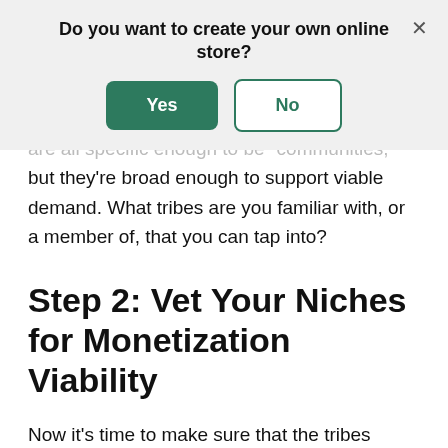Do you want to create your own online store?
[Figure (other): Modal dialog with Yes and No buttons, and an X close button]
are all specific enough to be “communities,” but they’re broad enough to support viable demand. What tribes are you familiar with, or a member of, that you can tap into?
Step 2: Vet Your Niches for Monetization Viability
Now it’s time to make sure that the tribes you’ve chosen have the surface-level attributes that point to sales potential. You want to make